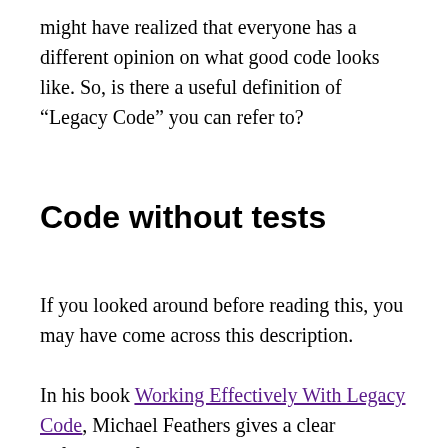might have realized that everyone has a different opinion on what good code looks like. So, is there a useful definition of “Legacy Code” you can refer to?
Code without tests
If you looked around before reading this, you may have come across this description.
In his book Working Effectively With Legacy Code, Michael Feathers gives a clear definition of what Legacy Code means to him:
To me, legacy code is simply code without tests